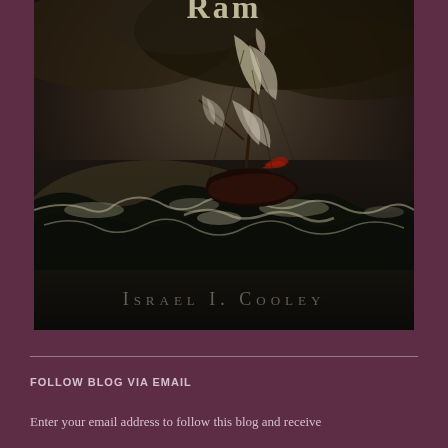[Figure (illustration): Book cover for 'Ram' by Israel I. Cooley. Dark dramatic painting of a tall sailing ship being tossed in stormy seas with crashing waves. The title 'Ram' appears at the top in antique serif lettering, and the author name 'Israel I. Cooley' appears at the bottom in white spaced serif text. Background is dark, stormy sky and turbulent ocean.]
FOLLOW BLOG VIA EMAIL
Enter your email address to follow this blog and receive